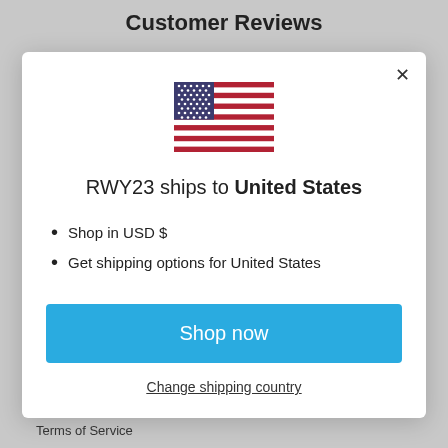Customer Reviews
[Figure (other): US flag icon shown in modal dialog]
RWY23 ships to United States
Shop in USD $
Get shipping options for United States
Shop now
Change shipping country
Terms of Service